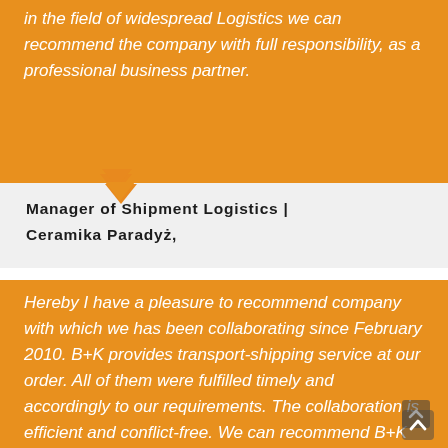in the field of widespread Logistics we can recommend the company with full responsibility, as a professional business partner.
Manager of Shipment Logistics | Ceramika Paradyż,
Hereby I have a pleasure to recommend company with which we has been collaborating since February 2010. B+K provides transport-shipping service at our order. All of them were fulfilled timely and accordingly to our requirements. The collaboration is efficient and conflict-free. We can recommend B+K as a solid partner who has experienced staff and wide range of carrier at his disposal. What's m the company shows friendly attitude toward costumers and subcontractors. B+K is a professional and reliable